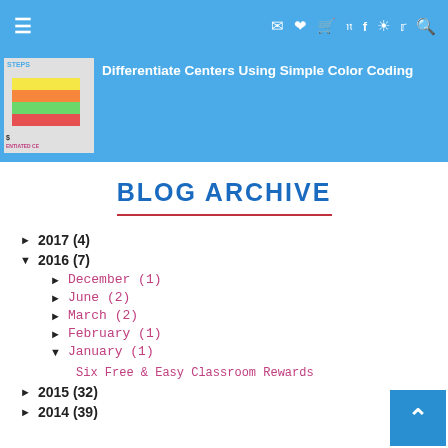≡  ✉ ♥ 🛒  pinterest facebook instagram twitter 🔍
[Figure (screenshot): Thumbnail image of a book/resource with sticky notes and text 'STEPS' and 'ENTIATED CE']
Differentiate Centers Using Simple Color Coding
BLOG ARCHIVE
► 2017 (4)
▼ 2016 (7)
► December (1)
► June (2)
► March (2)
► February (1)
▼ January (1)
Six Free & Easy Classroom Rewards
► 2015 (32)
► 2014 (39)